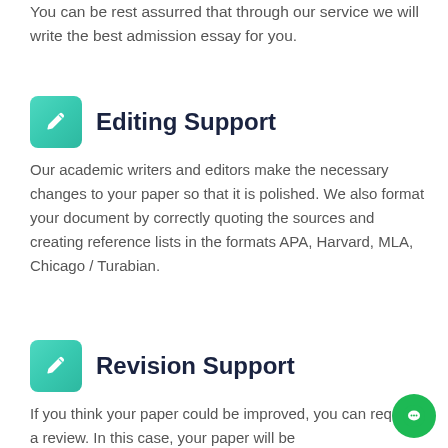You can be rest assurred that through our service we will write the best admission essay for you.
Editing Support
Our academic writers and editors make the necessary changes to your paper so that it is polished. We also format your document by correctly quoting the sources and creating reference lists in the formats APA, Harvard, MLA, Chicago / Turabian.
Revision Support
If you think your paper could be improved, you can request a review. In this case, your paper will be